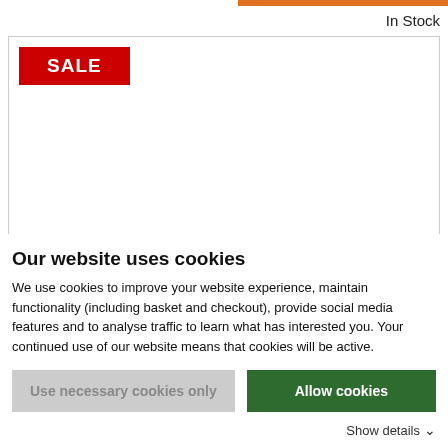In Stock
[Figure (other): Product image area with a red SALE badge in the top-left corner. The main area is white/blank.]
Our website uses cookies
We use cookies to improve your website experience, maintain functionality (including basket and checkout), provide social media features and to analyse traffic to learn what has interested you. Your continued use of our website means that cookies will be active.
Use necessary cookies only
Allow cookies
Show details